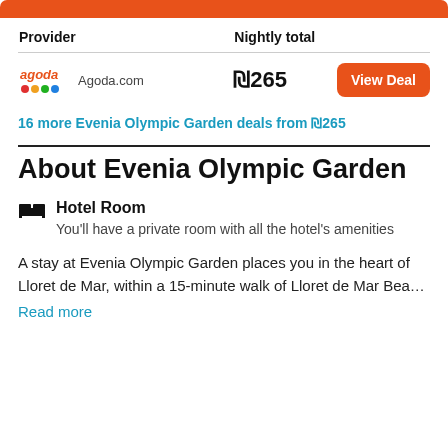| Provider | Nightly total |  |
| --- | --- | --- |
| Agoda.com | ₪265 | View Deal |
16 more Evenia Olympic Garden deals from ₪265
About Evenia Olympic Garden
Hotel Room
You'll have a private room with all the hotel's amenities
A stay at Evenia Olympic Garden places you in the heart of Lloret de Mar, within a 15-minute walk of Lloret de Mar Bea...
Read more